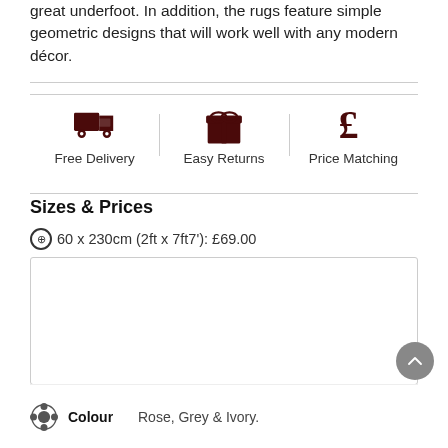great underfoot. In addition, the rugs feature simple geometric designs that will work well with any modern décor.
[Figure (infographic): Three icons in a row: delivery truck (Free Delivery), gift/return box (Easy Returns), pound sterling sign (Price Matching), separated by vertical dividers]
Sizes & Prices
⊕ 60 x 230cm (2ft x 7ft7'): £69.00
Rug Size * — Choose an Option... dropdown — ADD TO CART button
Colour   Rose, Grey & Ivory.